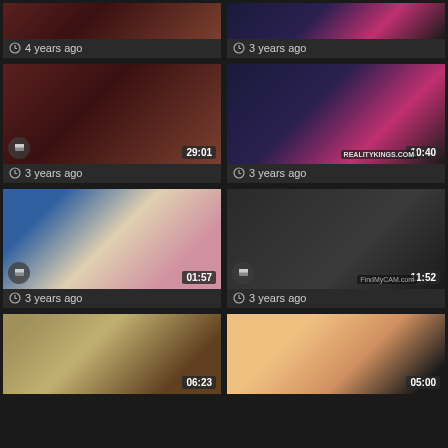[Figure (screenshot): Video thumbnail grid showing adult video thumbnails with timestamps and age labels]
4 years ago
3 years ago
3 years ago
3 years ago
3 years ago
3 years ago